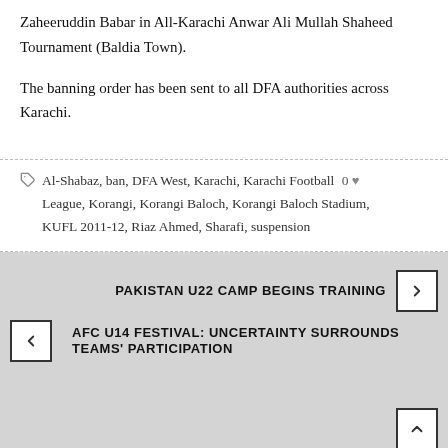Zaheeruddin Babar in All-Karachi Anwar Ali Mullah Shaheed Tournament (Baldia Town).
The banning order has been sent to all DFA authorities across Karachi.
Al-Shabaz, ban, DFA West, Karachi, Karachi Football 0 ♥ League, Korangi, Korangi Baloch, Korangi Baloch Stadium, KUFL 2011-12, Riaz Ahmed, Sharafi, suspension
PAKISTAN U22 CAMP BEGINS TRAINING
AFC U14 FESTIVAL: UNCERTAINTY SURROUNDS TEAMS' PARTICIPATION